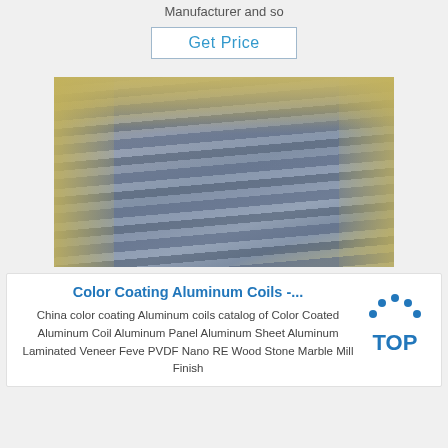Manufacturer and so
Get Price
[Figure (photo): Stacked aluminum coils/sheets packaged with yellow protective material, showing metallic silver reflective surface with curved edges.]
Color Coating Aluminum Coils -...
China color coating Aluminum coils catalog of Color Coated Aluminum Coil Aluminum Panel Aluminum Sheet Aluminum Laminated Veneer Feve PVDF Nano RE Wood Stone Marble Mill Finish
[Figure (logo): TOP logo with blue dots arranged in arc above the word TOP in bold blue letters]